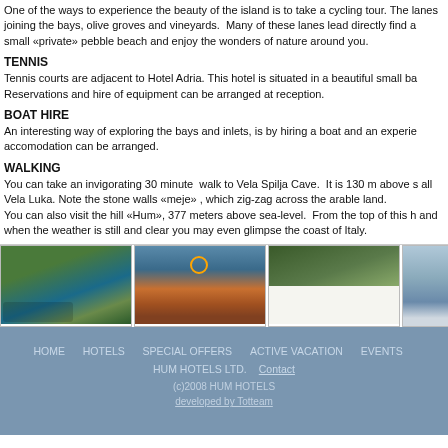One of the ways to experience the beauty of the island is to take a cycling tour. The lanes joining the bays, olive groves and vineyards. Many of these lanes lead directly find a small «private» pebble beach and enjoy the wonders of nature around you.
TENNIS
Tennis courts are adjacent to Hotel Adria. This hotel is situated in a beautiful small ba Reservations and hire of equipment can be arranged at reception.
BOAT HIRE
An interesting way of exploring the bays and inlets, is by hiring a boat and an experie accomodation can be arranged.
WALKING
You can take an invigorating 30 minute walk to Vela Spilja Cave. It is 130 m above s all Vela Luka. Note the stone walls «meje» , which zig-zag across the arable land. You can also visit the hill «Hum», 377 meters above sea-level. From the top of this h and when the weather is still and clear you may even glimpse the coast of Italy.
[Figure (photo): Aerial view of hotel and bay with green landscape]
[Figure (photo): Boat deck with wooden benches and orange life ring]
[Figure (photo): Forest/nature scene with white lower section]
[Figure (photo): Partial coastal/water scene]
HOME  HOTELS  SPECIAL OFFERS  ACTIVE VACATION  EVENTS  HUM HOTELS LTD.  Contact  (c)2008 HUM HOTELS  developed by Totteam